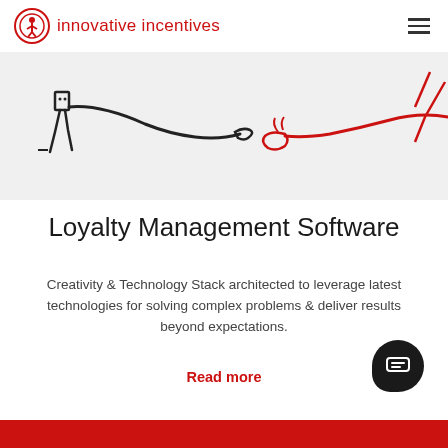innovative incentives
[Figure (illustration): Illustration showing two stick-figure-style characters reaching toward each other. One hand is drawn in black outline, the other in red, reminiscent of the Michelangelo Creation of Adam pose. Background is light gray.]
Loyalty Management Software
Creativity & Technology Stack architected to leverage latest technologies for solving complex problems & deliver results beyond expectations.
Read more